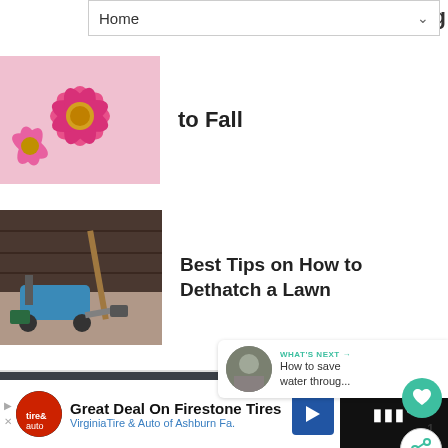Home
ng to Fall
Best Tips on How to Dethatch a Lawn
© Copyright 2022 Backyard Gardener • Designed by MotoPre • Proudly Powered by WordPress
Exclusive Member of Mediavine Home
WHAT'S NEXT → How to save water throug...
Great Deal On Firestone Tires VirginiaTire & Auto of Ashburn Fa.